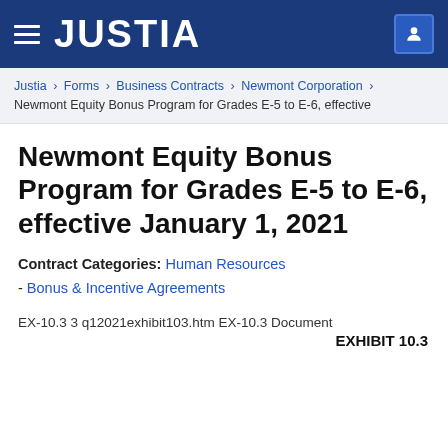JUSTIA
Justia › Forms › Business Contracts › Newmont Corporation › Newmont Equity Bonus Program for Grades E-5 to E-6, effective
Newmont Equity Bonus Program for Grades E-5 to E-6, effective January 1, 2021
Contract Categories: Human Resources
- Bonus & Incentive Agreements
EX-10.3 3 q12021exhibit103.htm EX-10.3 Document
EXHIBIT 10.3